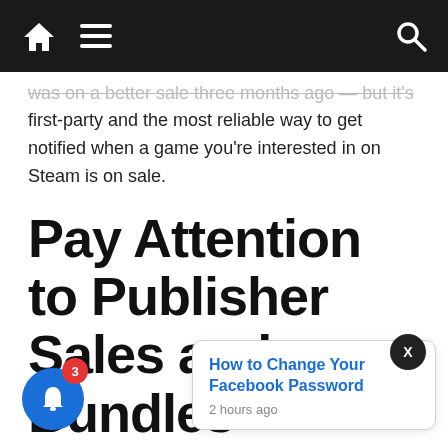Navigation bar with home icon, menu icon, and search icon
was on a better sale three months ago — but it's first-party and the most reliable way to get notified when a game you're interested in on Steam is on sale.
Pay Attention to Publisher Sales and Bundles
The nod to Psychonauts is a good place to point out the money-saving power of publisher sales and bundles.
isher sales games across its entire catalog or, more frequently,
[Figure (other): Notification popup with link 'How to Change Your Facebook Password' and timestamp '2 hours ago', along with a blue bell notification button with red badge showing '3' and a dark close button with X]